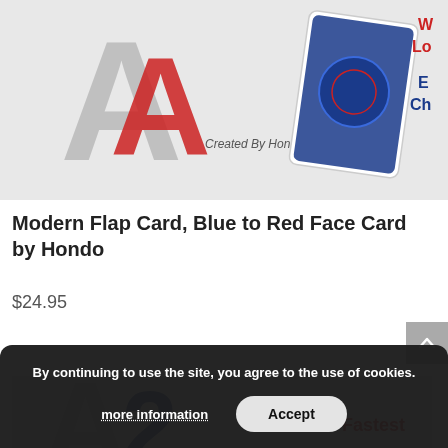[Figure (photo): Product image showing a magic card trick item - Modern Flap Card, Blue to Red Face Card by Hondo. Shows playing cards with blue and red design and text 'Created By Hondo'. Partially cropped at top.]
Modern Flap Card, Blue to Red Face Card by Hondo
$24.95
[Figure (photo): Bottom portion of another product image partially visible, showing playing cards with text 'Fastest' in red.]
By continuing to use the site, you agree to the use of cookies.
more information
Accept